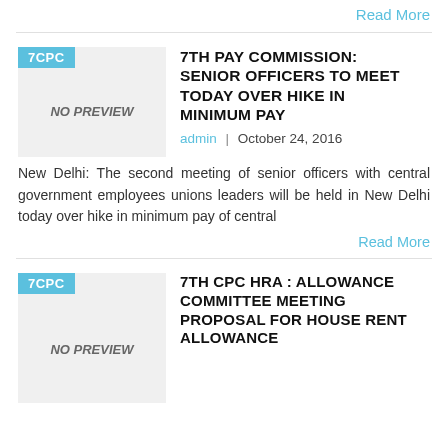Read More
7TH PAY COMMISSION: SENIOR OFFICERS TO MEET TODAY OVER HIKE IN MINIMUM PAY
admin | October 24, 2016
New Delhi: The second meeting of senior officers with central government employees unions leaders will be held in New Delhi today over hike in minimum pay of central
Read More
7TH CPC HRA : ALLOWANCE COMMITTEE MEETING PROPOSAL FOR HOUSE RENT ALLOWANCE